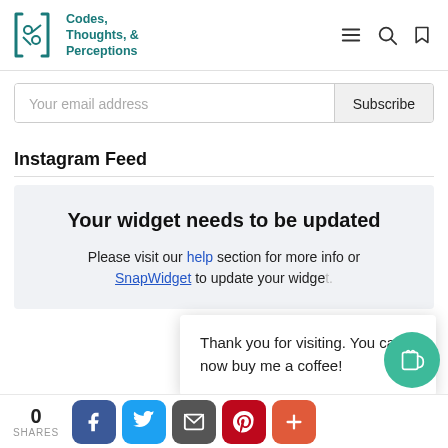Codes, Thoughts, & Perceptions
Your email address
Subscribe
Instagram Feed
Your widget needs to be updated
Please visit our help section for more info or SnapWidget to update your widget.
Thank you for visiting. You can now buy me a coffee!
0
SHARES